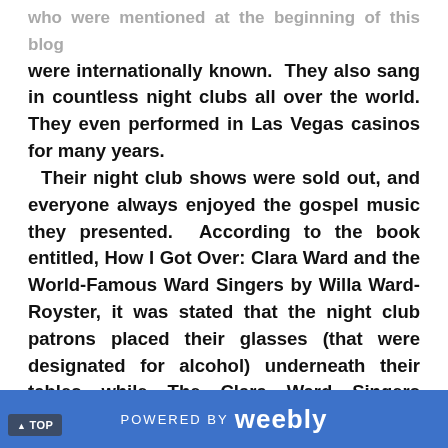who were mentioned at the beginning of this blog were internationally known. They also sang in countless night clubs all over the world. They even performed in Las Vegas casinos for many years. Their night club shows were sold out, and everyone always enjoyed the gospel music they presented. According to the book entitled, How I Got Over: Clara Ward and the World-Famous Ward Singers by Willa Ward-Royster, it was stated that the night club patrons placed their glasses (that were designated for alcohol) underneath their tables while The Clara Ward Singers performed. This was because they respected their gospel
▲ TOP    POWERED BY weebly